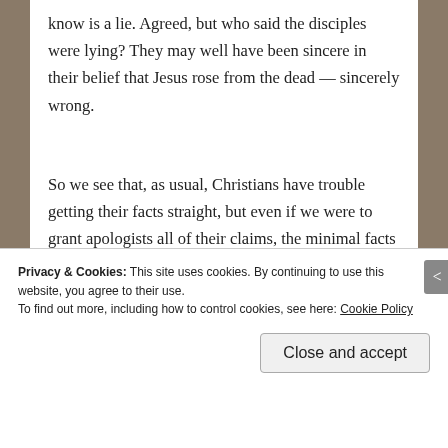know is a lie. Agreed, but who said the disciples were lying? They may well have been sincere in their belief that Jesus rose from the dead — sincerely wrong.
So we see that, as usual, Christians have trouble getting their facts straight, but even if we were to grant apologists all of their claims, the minimal facts approach still suffers from a fatal flaw.
Privacy & Cookies: This site uses cookies. By continuing to use this website, you agree to their use. To find out more, including how to control cookies, see here: Cookie Policy